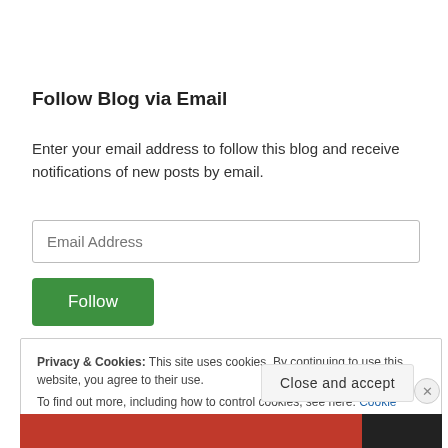Follow Blog via Email
Enter your email address to follow this blog and receive notifications of new posts by email.
Email Address
Follow
Privacy & Cookies: This site uses cookies. By continuing to use this website, you agree to their use.
To find out more, including how to control cookies, see here: Cookie Policy
Close and accept